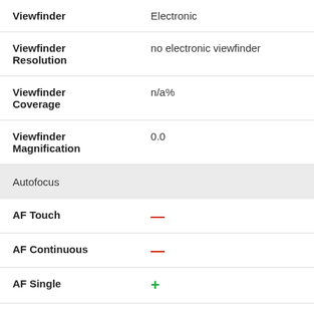| Specification | Value |
| --- | --- |
| Viewfinder | Electronic |
| Viewfinder Resolution | no electronic viewfinder |
| Viewfinder Coverage | n/a% |
| Viewfinder Magnification | 0.0 |
| Autofocus |  |
| AF Touch | — |
| AF Continuous | — |
| AF Single | + |
| AF Tracking |  |